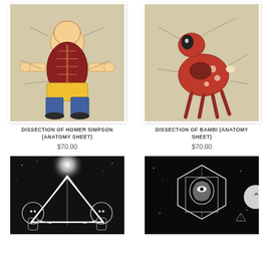[Figure (illustration): Anatomical dissection illustration of Homer Simpson character showing internal organs and labeled anatomy on a tan/beige background]
[Figure (illustration): Anatomical dissection illustration of Bambi deer character showing internal organs and labeled anatomy on a tan/beige background]
DISSECTION OF HOMER SIMPSON (ANATOMY SHEET)
$70.00
DISSECTION OF BAMBI (ANATOMY SHEET)
$70.00
[Figure (illustration): Black and white illustration of figures in a triangular composition with bright light emanating from the center top, cosmic/mystical theme]
[Figure (illustration): Black background illustration of a figure inside a geometric hexagonal crystal shape with cosmic elements]